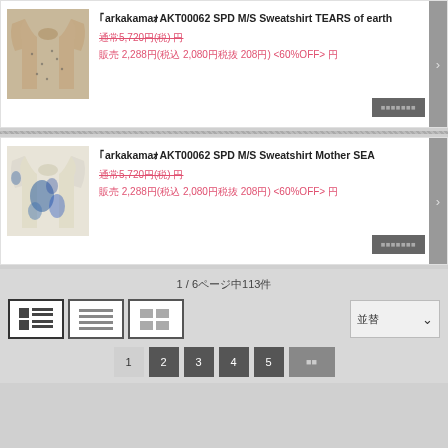[Figure (photo): Beige/tan sweatshirt with small dark print pattern on a light background]
｢arkakamaｫAKT00062 SPD M/S Sweatshirt TEARS of earth
通常5,720円(税) 円
販売 2,288円(税込 2,080円税抜 208円) <60%OFF> 円
[Figure (photo): White/cream sweatshirt with blue tie-dye or paint splash pattern]
｢arkakamaｫAKT00062 SPD M/S Sweatshirt Mother SEA
通常5,720円(税) 円
販売 2,288円(税込 2,080円税抜 208円) <60%OFF> 円
1 / 6ページ中113件
1  2  3  4  5  次へ